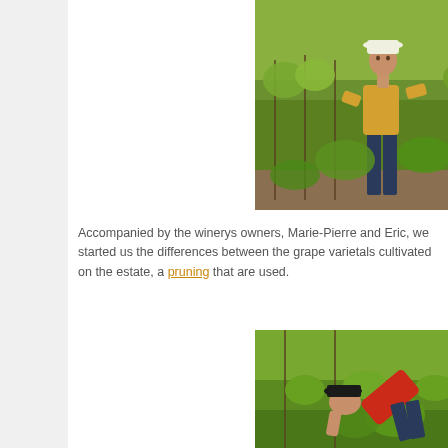[Figure (photo): Man in white hat and yellow shirt standing in a vineyard among green grapevines on a sunny day]
Accompanied by the winerys owners, Marie-Pierre and Eric, we started us the differences between the grape varietals cultivated on the estate, a pruning that are used.
[Figure (photo): Person in red shirt and black hat bending down examining grapevines in a vineyard]